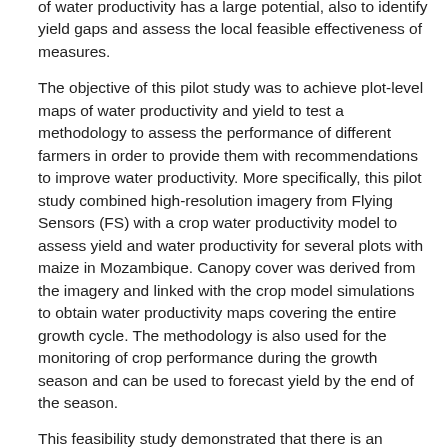of water productivity has a large potential, also to identify yield gaps and assess the local feasible effectiveness of measures.
The objective of this pilot study was to achieve plot-level maps of water productivity and yield to test a methodology to assess the performance of different farmers in order to provide them with recommendations to improve water productivity. More specifically, this pilot study combined high-resolution imagery from Flying Sensors (FS) with a crop water productivity model to assess yield and water productivity for several plots with maize in Mozambique. Canopy cover was derived from the imagery and linked with the crop model simulations to obtain water productivity maps covering the entire growth cycle. The methodology is also used for the monitoring of crop performance during the growth season and can be used to forecast yield by the end of the season.
This feasibility study demonstrated that there is an opportunity to further develop a service that monitors water productivity based on FS-imagery and crop modelling. Service costs outweigh the additional revenues obtained by farmers. The experimental development has demonstrated that the service is